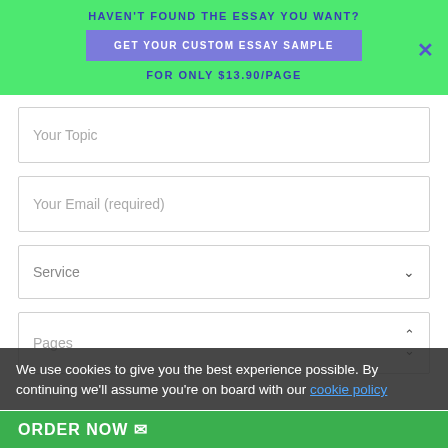HAVEN'T FOUND THE ESSAY YOU WANT?
GET YOUR CUSTOM ESSAY SAMPLE
FOR ONLY $13.90/PAGE
Your Topic
Your Email (required)
Service
Pages
We use cookies to give you the best experience possible. By continuing we'll assume you're on board with our cookie policy
ORDER NOW